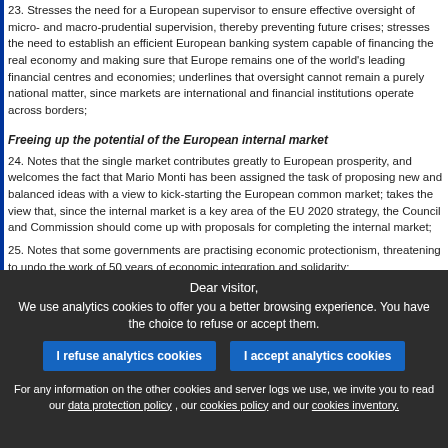23.  Stresses the need for a European supervisor to ensure effective oversight of micro- and macro-prudential supervision, thereby preventing future crises; stresses the need to establish an efficient European banking system capable of financing the real economy and making sure that Europe remains one of the world's leading financial centres and economies; underlines that oversight cannot remain a purely national matter, since markets are international and financial institutions operate across borders;
Freeing up the potential of the European internal market
24.  Notes that the single market contributes greatly to European prosperity, and welcomes the fact that Mario Monti has been assigned the task of proposing new and balanced ideas with a view to kick-starting the European common market; takes the view that, since the internal market is a key area of the EU 2020 strategy, the Council and Commission should come up with proposals for completing the internal market;
25.  Notes that some governments are practising economic protectionism, threatening to undo the work of 50 years of economic integration and solidarity;
Dear visitor, We use analytics cookies to offer you a better browsing experience. You have the choice to refuse or accept them. I refuse analytics cookies | I accept analytics cookies. For any information on the other cookies and server logs we use, we invite you to read our data protection policy, our cookies policy and our cookies inventory.